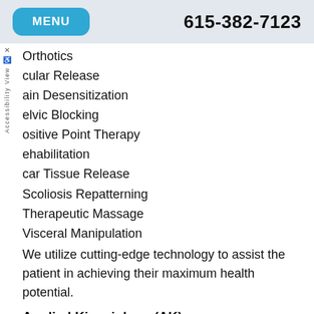MENU  615-382-7123
Orthotics
cular Release
ain Desensitization
elvic Blocking
ositive Point Therapy
ehabilitation
car Tissue Release
Scoliosis Repatterning
Therapeutic Massage
Visceral Manipulation
We utilize cutting-edge technology to assist the patient in achieving their maximum health potential.
Applied Kinesiology (AK)
Applied Kinesiology (AK), developed by Dr. George